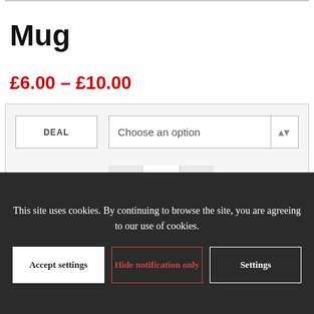Mug
£6.00 – £10.00
DEAL
Choose an option
1
Add to basket
This site uses cookies. By continuing to browse the site, you are agreeing to our use of cookies.
Accept settings
Hide notification only
Settings